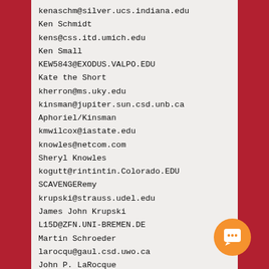kenaschm@silver.ucs.indiana.edu
Ken Schmidt
kens@css.itd.umich.edu
Ken Small
KEW5843@EXODUS.VALPO.EDU
Kate the Short
kherron@ms.uky.edu
kinsman@jupiter.sun.csd.unb.ca
Aphoriel/Kinsman
kmwilcox@iastate.edu
knowles@netcom.com
Sheryl Knowles
kogutt@rintintin.Colorado.EDU
SCAVENGERemy
krupski@strauss.udel.edu
James John Krupski
L15D@ZFN.UNI-BREMEN.DE
Martin Schroeder
larocqu@gaul.csd.uwo.ca
John P. LaRocque